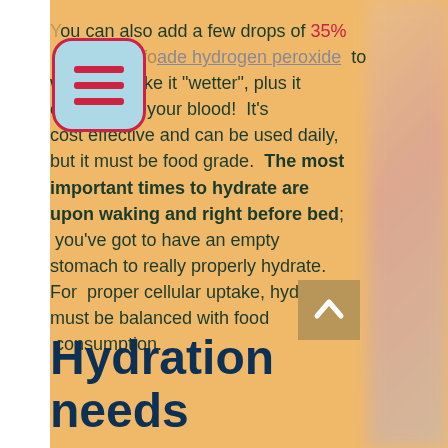You can also add a few drops of 35% food grade hydrogen peroxide to water to make it "wetter", plus it oxygenates your blood!  It's cost effective and can be used daily, but it must be food grade.  The most important times to hydrate are upon waking and right before bed; you've got to have an empty stomach to really properly hydrate. For  proper cellular uptake, hydration must be balanced with food consumption.
Hydration needs